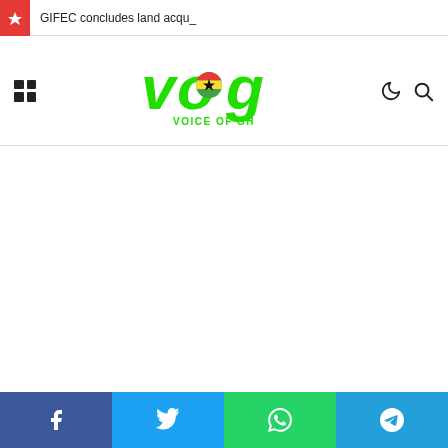GIFEC concludes land acqu_
[Figure (logo): Voice of GH (VOG) logo — green stylized text with Ghana flag accent and tagline VOICE OF GH]
[Figure (other): Social share buttons bar: Facebook (blue), Twitter (light blue), WhatsApp (green), Telegram (cyan)]